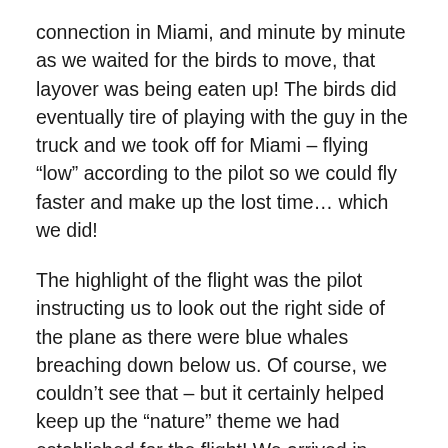connection in Miami, and minute by minute as we waited for the birds to move, that layover was being eaten up! The birds did eventually tire of playing with the guy in the truck and we took off for Miami – flying “low” according to the pilot so we could fly faster and make up the lost time… which we did!
The highlight of the flight was the pilot instructing us to look out the right side of the plane as there were blue whales breaching down below us. Of course, we couldn’t see that – but it certainly helped keep up the “nature” theme we had established for the flight! We arrived in Miami with just barely 20 minutes until the flight to Guatemala City was scheduled to take off! Unfortunately our route through the airport took us through all of that infernal construction, so we arrived at the gate exhausted from walking as fast as we could and with literally a minute